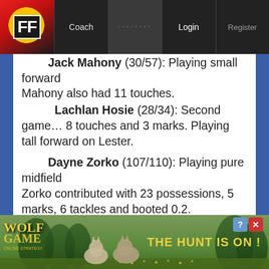FF | Coach | ●●●●●●●● | Login | Register
Jack Mahony (30/57): Playing small forward
Mahony also had 11 touches.
Lachlan Hosie (28/34): Second game… 8 touches and 3 marks. Playing tall forward on Lester.
Dayne Zorko (107/110): Playing pure midfield
Zorko contributed with 23 possessions, 5 marks, 6 tackles and booted 0.2.
Lachie Neale (104/134): Playing inside midfield
Neale contributed with 24 possessions, 5 grabs and 7 tackles.
[Figure (advertisement): Wolf Game advertisement banner with wolves imagery and text 'THE HUNT IS ON!']